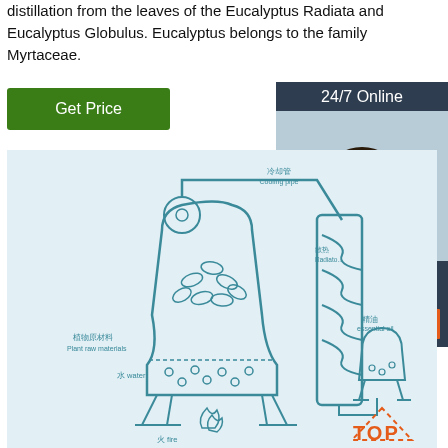distillation from the leaves of the Eucalyptus Radiata and Eucalyptus Globulus. Eucalyptus belongs to the family Myrtaceae.
Get Price
24/7 Online
[Figure (photo): Woman with headset smiling, customer support photo]
Click here for free chat !
QUOTATION
[Figure (schematic): Distillation apparatus diagram showing plant raw materials, water, fire, cooling pipe, radiator, and essential oil collection flask. Labels in Chinese and English: 冷却管 Cooling pipe, 散热 Radiator, 植物原材料 Plant raw materials, 水 water, 火 fire, 精油 essential oil. Orange dotted triangle and TOP text in orange.]